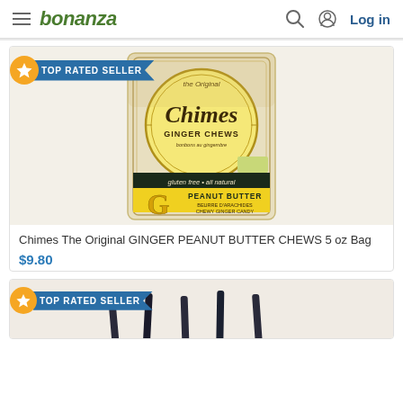bonanza — Log in
[Figure (screenshot): Bonanza e-commerce website header with hamburger menu, bonanza logo in green, search icon, user icon, and Log in button]
[Figure (photo): Chimes Ginger Peanut Butter Chews 5 oz bag product image with 'TOP RATED SELLER' badge]
Chimes The Original GINGER PEANUT BUTTER CHEWS 5 oz Bag
$9.80
[Figure (photo): Second product listing with 'TOP RATED SELLER' badge, partially visible product image with dark objects on light background]